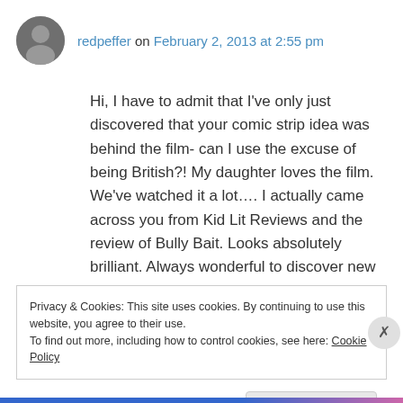redpeffer on February 2, 2013 at 2:55 pm
Hi, I have to admit that I've only just discovered that your comic strip idea was behind the film- can I use the excuse of being British?! My daughter loves the film. We've watched it a lot…. I actually came across you from Kid Lit Reviews and the review of Bully Bait. Looks absolutely brilliant. Always wonderful to discover new things, thanks.
Privacy & Cookies: This site uses cookies. By continuing to use this website, you agree to their use.
To find out more, including how to control cookies, see here: Cookie Policy
Close and accept